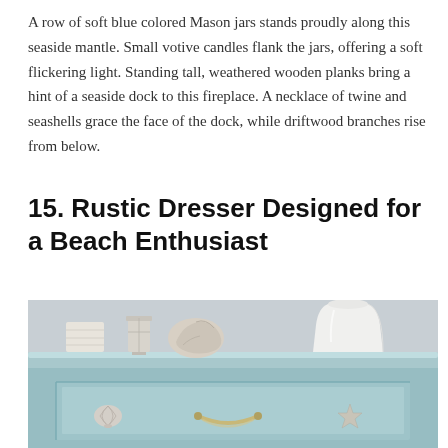A row of soft blue colored Mason jars stands proudly along this seaside mantle. Small votive candles flank the jars, offering a soft flickering light. Standing tall, weathered wooden planks bring a hint of a seaside dock to this fireplace. A necklace of twine and seashells grace the face of the dock, while driftwood branches rise from below.
15. Rustic Dresser Designed for a Beach Enthusiast
[Figure (photo): A light blue distressed rustic dresser with a drawer featuring a rope pull handle, a seashell knob on the left, and a starfish knob on the right. On top of the dresser are decorative beach items including a conch shell, a small lantern, folded fabric, and a white ceramic pitcher.]